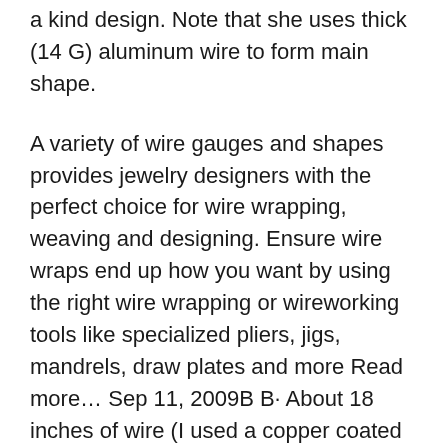a kind design. Note that she uses thick (14 G) aluminum wire to form main shape.
A variety of wire gauges and shapes provides jewelry designers with the perfect choice for wire wrapping, weaving and designing. Ensure wire wraps end up how you want by using the right wire wrapping or wireworking tools like specialized pliers, jigs, mandrels, draw plates and more Read more… Sep 11, 2009В В· About 18 inches of wire (I used a copper coated base wire for mine, but you can use any sort of wire you would like) Select a piece of sea glass you want to use for your pendant. Set your piece of sea glass aside and create a wire wrapped loop. To do this: Bend the вЂ¦